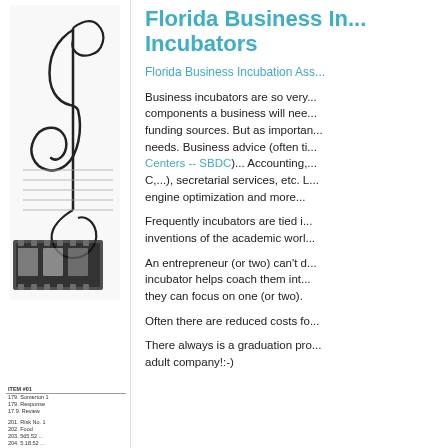[Figure (illustration): Black and white decorative illustration with a treble clef musical note and film strip on the left column]
[Figure (table-as-image): Small table with data rows at the bottom of the left column]
Florida Business In... Incubators
Florida Business Incubation Ass...
Business incubators are so very... components a business will nee... funding sources. But as importan... needs. Business advice (often ti... Centers -- SBDC)... Accounting,... C,...), secretarial services, etc. L... engine optimization and more...
Frequently incubators are tied i... inventions of the academic worl...
An entrepreneur (or two) can't d... incubator helps coach them int... they can focus on one (or two).
Often there are reduced costs fo...
There always is a graduation pro... adult company!:-)